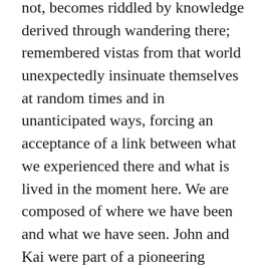not, becomes riddled by knowledge derived through wandering there; remembered vistas from that world unexpectedly insinuate themselves at random times and in unanticipated ways, forcing an acceptance of a link between what we experienced there and what is lived in the moment here. We are composed of where we have been and what we have seen. John and Kai were part of a pioneering generation that helped refine Greenland's history. They and their colleagues described in detail the characteristics that defined the “mobile” part of that land — the folds and sheared layers, the discontinuities and disrupted features. Over the years, they mapped major tectonic elements, documenting evidence for miles of displacement along several of the shear zones.
They published respected papers in scientific journals,